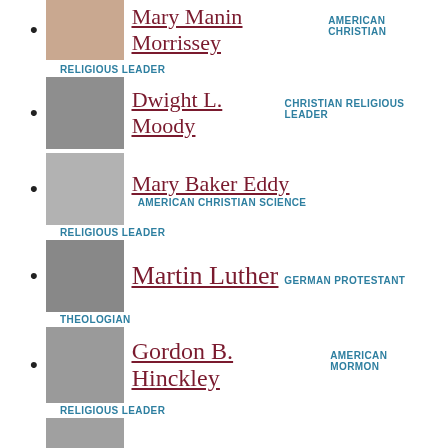Mary Manin Morrissey AMERICAN CHRISTIAN
Dwight L. Moody CHRISTIAN RELIGIOUS LEADER
Mary Baker Eddy AMERICAN CHRISTIAN SCIENCE RELIGIOUS LEADER
Martin Luther GERMAN PROTESTANT THEOLOGIAN
Gordon B. Hinckley AMERICAN MORMON RELIGIOUS LEADER
Marion G. Romney AMERICAN MORMON RELIGIOUS LEADER